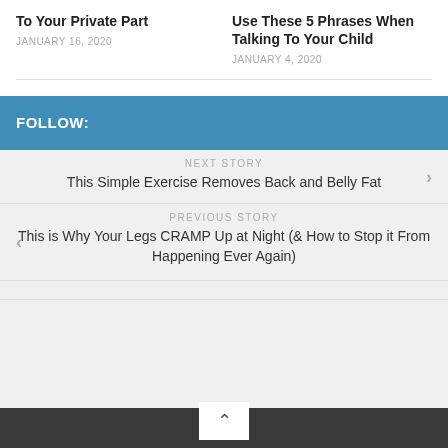To Your Private Part
JANUARY 16, 2020
Use These 5 Phrases When Talking To Your Child
JANUARY 4, 2020
FOLLOW:
NEXT STORY
This Simple Exercise Removes Back and Belly Fat
PREVIOUS STORY
This is Why Your Legs CRAMP Up at Night (& How to Stop it From Happening Ever Again)
^